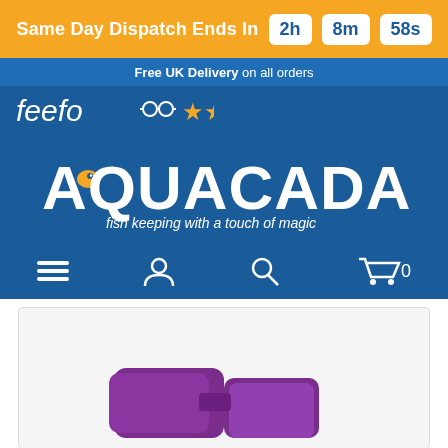Same Day Dispatch Ends In 2h 8m 58s
Free UK Delivery on all orders
[Figure (logo): Feefo logo with 5 stars rating]
[Figure (logo): Aquacadabra logo - fish keeping with a touch of magic]
[Figure (screenshot): Navigation bar with hamburger menu, user account icon, search icon, and cart icon showing 0 items]
[Figure (photo): Product image showing purple aquarium equipment, partially visible at bottom of page]